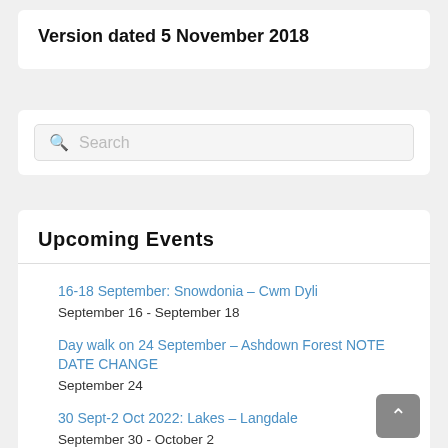Version dated 5 November 2018
[Figure (screenshot): Search input box with placeholder text 'Search' and a search icon]
Upcoming Events
16-18 September: Snowdonia – Cwm Dyli
September 16 - September 18
Day walk on 24 September – Ashdown Forest NOTE DATE CHANGE
September 24
30 Sept-2 Oct 2022: Lakes – Langdale
September 30 - October 2
18-20 November: Lakes – Coniston